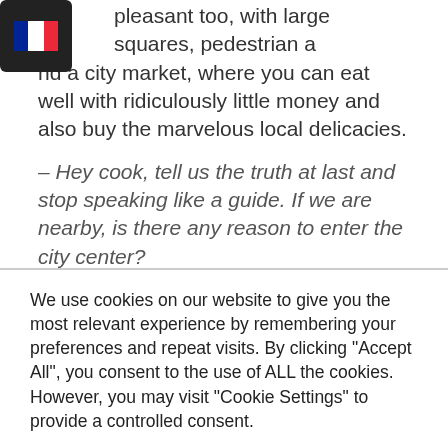[Figure (other): French flag icon in a dark rounded square in the top-left corner]
pleasant too, with large squares, pedestrian areas and a city market, where you can eat well with ridiculously little money and also buy the marvelous local delicacies.
– Hey cook, tell us the truth at last and stop speaking like a guide. If we are nearby, is there any reason to enter the city center?
– My answer is NO. Keep going north (as we are gonna do) or south, or west. Ancona is very
We use cookies on our website to give you the most relevant experience by remembering your preferences and repeat visits. By clicking "Accept All", you consent to the use of ALL the cookies. However, you may visit "Cookie Settings" to provide a controlled consent.